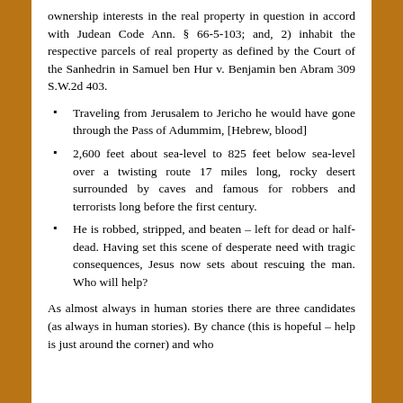ownership interests in the real property in question in accord with Judean Code Ann. § 66-5-103; and, 2) inhabit the respective parcels of real property as defined by the Court of the Sanhedrin in Samuel ben Hur v. Benjamin ben Abram 309 S.W.2d 403.
Traveling from Jerusalem to Jericho he would have gone through the Pass of Adummim, [Hebrew, blood]
2,600 feet about sea-level to 825 feet below sea-level over a twisting route 17 miles long, rocky desert surrounded by caves and famous for robbers and terrorists long before the first century.
He is robbed, stripped, and beaten – left for dead or half-dead. Having set this scene of desperate need with tragic consequences, Jesus now sets about rescuing the man. Who will help?
As almost always in human stories there are three candidates (as always in human stories). By chance (this is hopeful – help is just around the corner) and who